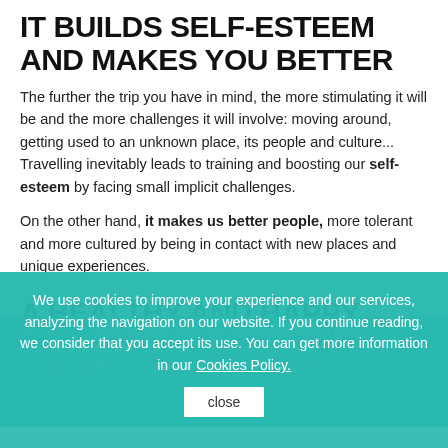IT BUILDS SELF-ESTEEM AND MAKES YOU BETTER
The further the trip you have in mind, the more stimulating it will be and the more challenges it will involve: moving around, getting used to an unknown place, its people and culture... Travelling inevitably leads to training and boosting our self-esteem by facing small implicit challenges.
On the other hand, it makes us better people, more tolerant and more cultured by being in contact with new places and unique experiences.
A HEALTHY AND HAPPY HEART!
We use cookies to improve your experience and our services, analyzing the navigation on our website. If you continue reading, we consider that you accept its use. You can get more information in our Cookies Policy.